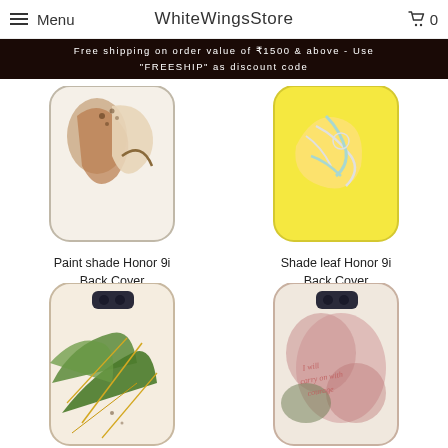Menu  WhiteWingsStore  0
Free shipping on order value of ₹1500 & above - Use "FREESHIP" as discount code
[Figure (photo): Paint shade Honor 9i Back Cover phone case - decorative abstract shapes in earth tones]
Paint shade Honor 9i Back Cover
₹ 99.00
[Figure (photo): Shade leaf Honor 9i Back Cover phone case - yellow background with floral/leaf patterns in blue]
Shade leaf Honor 9i Back Cover
₹ 99.00
[Figure (photo): Phone back cover with tropical green leaves and gold geometric lines on light background]
[Figure (photo): Phone back cover with pink/mauve floral watercolor and cursive text reading 'I will carry on with courage']